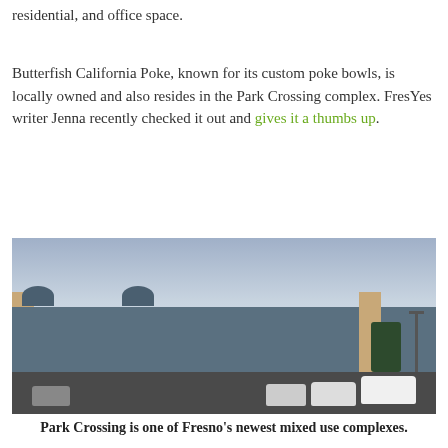residential, and office space.
Butterfish California Poke, known for its custom poke bowls, is locally owned and also resides in the Park Crossing complex. FresYes writer Jenna recently checked it out and gives it a thumbs up.
[Figure (photo): Exterior photo of Park Crossing shopping complex on a cloudy day, showing storefronts with blue roofing, tan building accents, a parking lot with several cars including a prominent white SUV, a street lamp, and trees in the background.]
Park Crossing is one of Fresno's newest mixed use complexes.